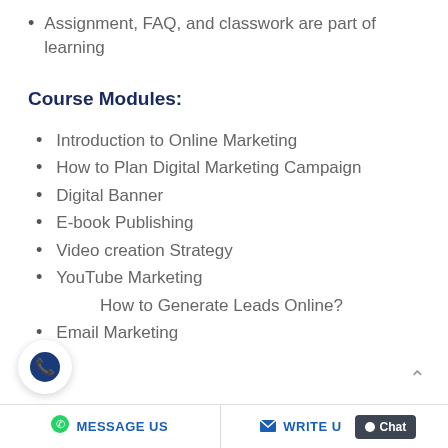Assignment, FAQ, and classwork are part of learning
Course Modules:
Introduction to Online Marketing
How to Plan Digital Marketing Campaign
Digital Banner
E-book Publishing
Video creation Strategy
YouTube Marketing
How to Generate Leads Online?
Email Marketing
MESSAGE US   WRITE U   Chat